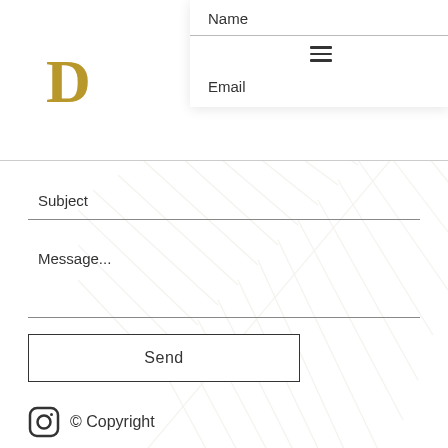[Figure (logo): Gold serif letter E logo in top left corner]
Name
Email
Subject
Message...
Send
[Figure (illustration): Light beige palm leaf watermark illustration in the background]
© Copyright